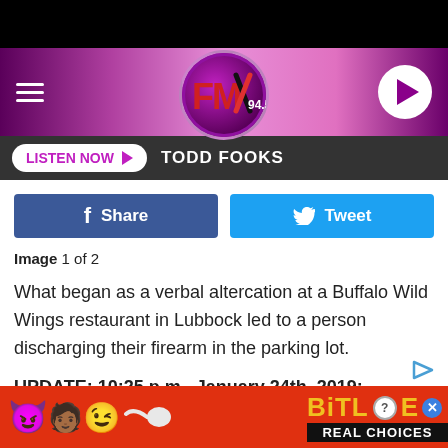[Figure (screenshot): FMX 94.5 radio station website header with purple gradient background, hamburger menu, FMX logo circle, and play button circle]
LISTEN NOW ▶  TODD FOOKS
f  Share   🐦  Tweet
Image 1 of 2
What began as a verbal altercation at a Buffalo Wild Wings restaurant in Lubbock led to a person discharging their firearm in the parking lot.
UPDATE: 10:25 p.m., January 24th, 2019:
[Figure (photo): BitLife game advertisement banner with emoji characters on red background and yellow BitLife logo with REAL CHOICES text]